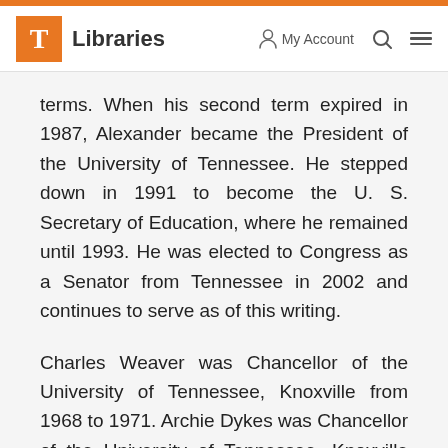T Libraries  My Account  [search] [menu]
terms. When his second term expired in 1987, Alexander became the President of the University of Tennessee. He stepped down in 1991 to become the U. S. Secretary of Education, where he remained until 1993. He was elected to Congress as a Senator from Tennessee in 2002 and continues to serve as of this writing.
Charles Weaver was Chancellor of the University of Tennessee, Knoxville from 1968 to 1971. Archie Dykes was Chancellor of the University of Tennessee, Knoxville from 1971 to 1973. Jack Reese was Chancellor of the University of Tennessee, Knoxville from